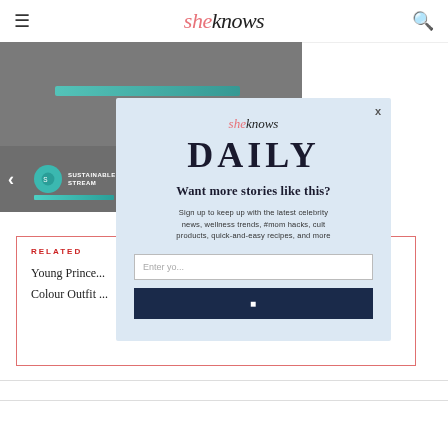sheknows
[Figure (screenshot): Dark gray video/image area with a teal progress bar]
[Figure (screenshot): Video thumbnail row with sustainable stream icon and teal bar, left arrow navigation]
RELATED
Young Prince...
Colour Outfit...
[Figure (screenshot): SheKnows Daily newsletter signup modal with email input and subscribe button]